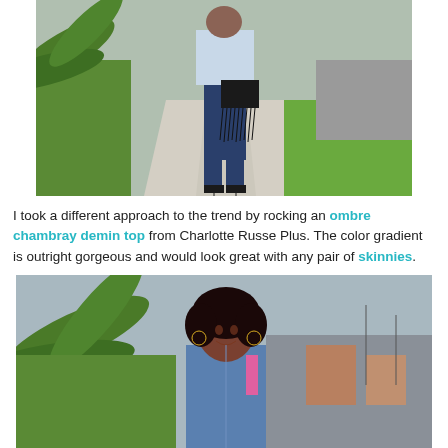[Figure (photo): Full-body photo of a woman from behind standing on a sidewalk, wearing a light chambray top, dark skinny jeans, black heeled sandals, and holding a black fringe bag. Green grass and palm fronds visible on the left.]
I took a different approach to the trend by rocking an ombre chambray demin top from Charlotte Russe Plus. The color gradient is outright gorgeous and would look great with any pair of skinnies.
[Figure (photo): Photo of a woman smiling outdoors near palm fronds, wearing a chambray denim top and hoop earrings, with a street scene in the background.]